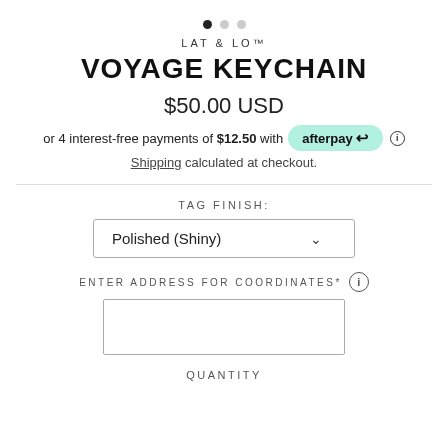[Figure (other): Image carousel pagination dots: one filled black dot and two grey dots]
LAT & LO™
VOYAGE KEYCHAIN
$50.00 USD
or 4 interest-free payments of $12.50 with afterpay ⓘ
Shipping calculated at checkout.
TAG FINISH:
Polished (Shiny)
ENTER ADDRESS FOR COORDINATES* ⓘ
QUANTITY